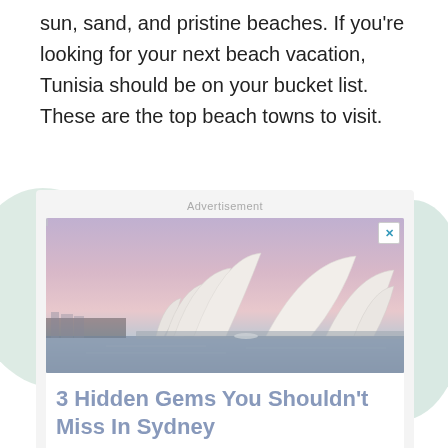sun, sand, and pristine beaches. If you're looking for your next beach vacation, Tunisia should be on your bucket list. These are the top beach towns to visit.
[Figure (screenshot): Advertisement box with an image of the Sydney Opera House at dusk with a pink-purple sky, and the text '3 Hidden Gems You Shouldn't Miss In Sydney' below it. A close (X) button appears in the top-right of the image.]